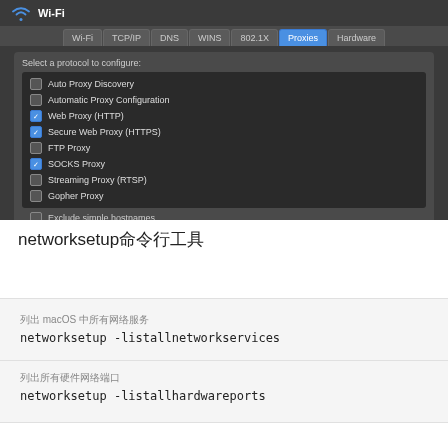[Figure (screenshot): macOS Network Preferences screenshot showing Wi-Fi Proxies tab with a list of proxy options. Web Proxy (HTTP), Secure Web Proxy (HTTPS), and SOCKS Proxy are checked. Auto Proxy Discovery, Automatic Proxy Configuration, FTP Proxy, Streaming Proxy (RTSP), and Gopher Proxy are unchecked. 'Exclude simple hostnames' checkbox is unchecked.]
networksetup命令行工具
列出macOS中所有网络服务
networksetup -listallnetworkservices
列出所有硬件网络端口
networksetup -listallhardwareports